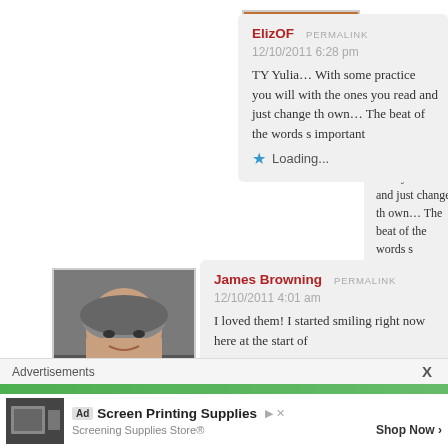[Figure (photo): Avatar image of a Japanese shrine gate (torii) in red/orange color]
ElizOF  PERMALINK
12/10/2011 6:28 pm
TY Yulia… With some practice you will with the ones you read and just change th own… The beat of the words s important
★ Loading...
[Figure (photo): Avatar photo of James Browning, a middle-aged man with grey hair]
James Browning  PERMALINK
12/10/2011 4:01 am
I loved them! I started smiling right now here at the start of
★ Loading...
Advertisements
X
Ad  Screen Printing Supplies  ▶ ✕
Screening Supplies Store®  Shop Now ›